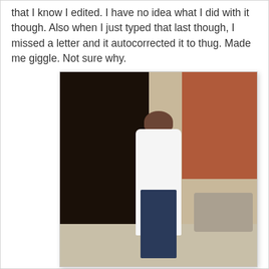that I know I edited. I have no idea what I did with it though. Also when I just typed that last though, I missed a letter and it autocorrected it to thug. Made me giggle. Not sure why.
[Figure (photo): A woman wearing sunglasses, a white cardigan, a patterned top, and dark ripped jeans with brown sandals, standing near a large dark metal door and a red brick wall on a sidewalk. She is looking down and reaching toward the door handle.]